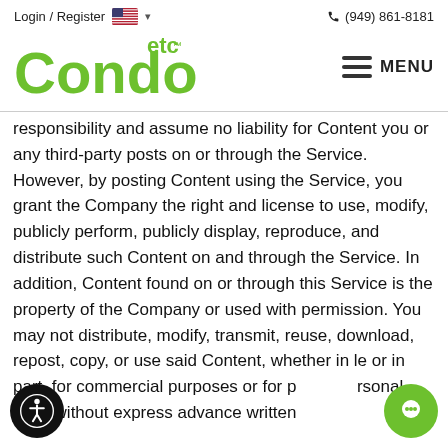Login / Register  (949) 861-8181
[Figure (logo): CondosEtc green logo with 'MENU' hamburger icon on the right]
responsibility and assume no liability for Content you or any third-party posts on or through the Service. However, by posting Content using the Service, you grant the Company the right and license to use, modify, publicly perform, publicly display, reproduce, and distribute such Content on and through the Service. In addition, Content found on or through this Service is the property of the Company or used with permission. You may not distribute, modify, transmit, reuse, download, repost, copy, or use said Content, whether in whole or in part, for commercial purposes or for personal gain, without express advance written